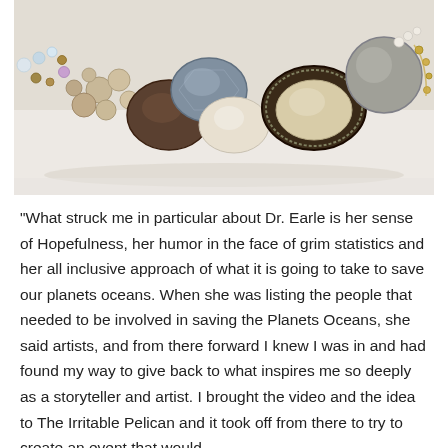[Figure (photo): Close-up photograph of a decorative beaded jewelry necklace featuring large gemstones and polished stones in brown, cream, and grey tones, with crystal and pearl beads, on a white background.]
"What struck me in particular about Dr. Earle is her sense of Hopefulness, her humor in the face of grim statistics and her all inclusive approach of what it is going to take to save our planets oceans. When she was listing the people that needed to be involved in saving the Planets Oceans, she said artists, and from there forward I knew I was in and had found my way to give back to what inspires me so deeply as a storyteller and artist. I brought the video and the idea to The Irritable Pelican and it took off from there to try to create an event that would